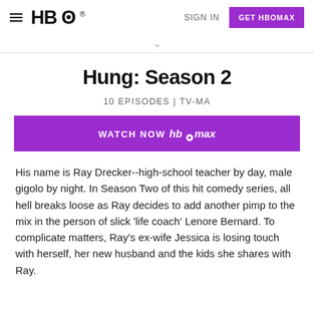HBO  SIGN IN  GET HBOMAX
Hung: Season 2
10 EPISODES | TV-MA
[Figure (other): Purple button reading WATCH NOW HBO max]
His name is Ray Drecker--high-school teacher by day, male gigolo by night. In Season Two of this hit comedy series, all hell breaks loose as Ray decides to add another pimp to the mix in the person of slick 'life coach' Lenore Bernard. To complicate matters, Ray's ex-wife Jessica is losing touch with herself, her new husband and the kids she shares with Ray.